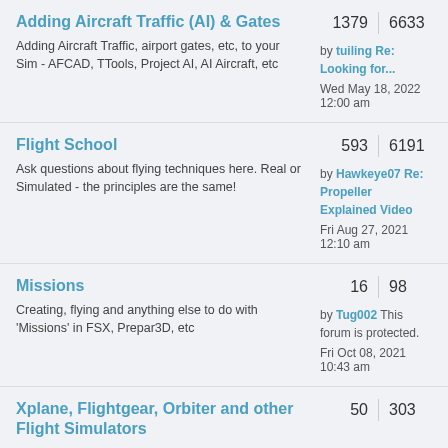Adding Aircraft Traffic (AI) & Gates
Flight School
Missions
Xplane, Flightgear, Orbiter and other Flight Simulators